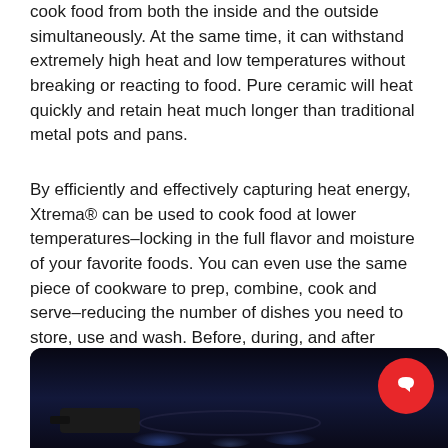cook food from both the inside and the outside simultaneously. At the same time, it can withstand extremely high heat and low temperatures without breaking or reacting to food. Pure ceramic will heat quickly and retain heat much longer than traditional metal pots and pans.
By efficiently and effectively capturing heat energy, Xtrema® can be used to cook food at lower temperatures–locking in the full flavor and moisture of your favorite foods. You can even use the same piece of cookware to prep, combine, cook and serve–reducing the number of dishes you need to store, use and wash. Before, during, and after every meal, Xtrema® cookware transforms your cooking and dining routine.
[Figure (photo): Dark photo of cookware on a stovetop with blue flame light visible, dark background]